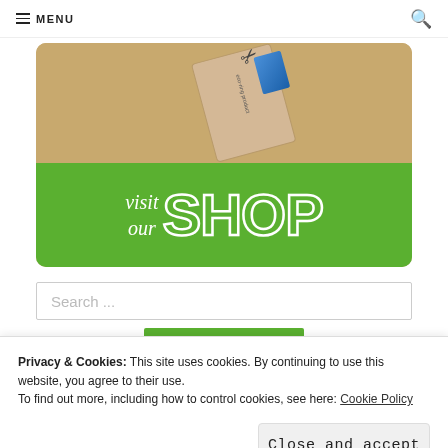MENU
[Figure (illustration): Shop banner image showing a notebook on tan/beige background above a green rounded rectangle with text 'visit our SHOP' in white]
Search ...
SEARCH
Privacy & Cookies: This site uses cookies. By continuing to use this website, you agree to their use.
To find out more, including how to control cookies, see here: Cookie Policy
Close and accept
Posts by Category